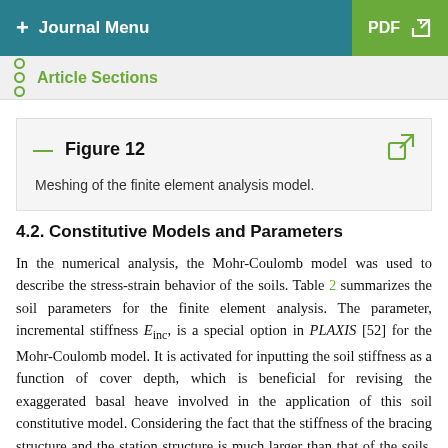+ Journal Menu   PDF ↓
Article Sections
Figure 12
Meshing of the finite element analysis model.
4.2. Constitutive Models and Parameters
In the numerical analysis, the Mohr-Coulomb model was used to describe the stress-strain behavior of the soils. Table 2 summarizes the soil parameters for the finite element analysis. The parameter, incremental stiffness E_inc, is a special option in PLAXIS [52] for the Mohr-Coulomb model. It is activated for inputting the soil stiffness as a function of cover depth, which is beneficial for revising the exaggerated basal heave involved in the application of this soil constitutive model. Considering the fact that the stiffness of the bracing structure and the station structure is much larger than that of the soils, the linear elastic